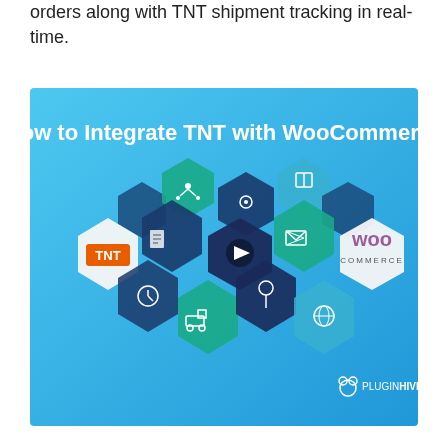orders along with TNT shipment tracking in real-time.
[Figure (illustration): Promotional banner image showing 'How to Integrate TNT with WooCommerce' with hexagonal icons depicting shipping, logistics, e-commerce icons, TNT logo, WooCommerce logo, and PluginHive branding on a blue gradient background.]